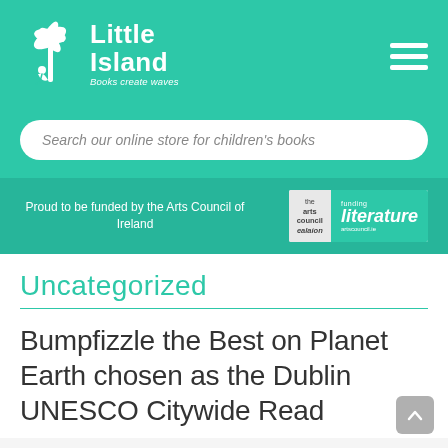[Figure (logo): Little Island Books logo — white palm tree and figure on teal background with text 'Little Island' and tagline 'Books create waves']
Search our online store for children's books
Proud to be funded by the Arts Council of Ireland
[Figure (logo): Arts Council / ealaíon 'funding literature' logo badge]
Uncategorized
Bumpfizzle the Best on Planet Earth chosen as the Dublin UNESCO Citywide Read